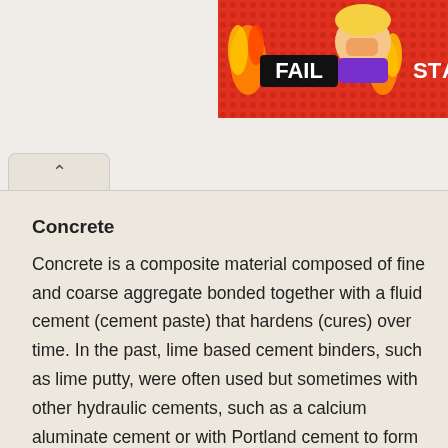[Figure (screenshot): Advertisement banner showing a cartoon 'FAIL' image with a facepalm character surrounded by flames, partially cropped, with 'STA' visible at right edge.]
Concrete
Concrete is a composite material composed of fine and coarse aggregate bonded together with a fluid cement (cement paste) that hardens (cures) over time. In the past, lime based cement binders, such as lime putty, were often used but sometimes with other hydraulic cements, such as a calcium aluminate cement or with Portland cement to form Portland cement concrete (named